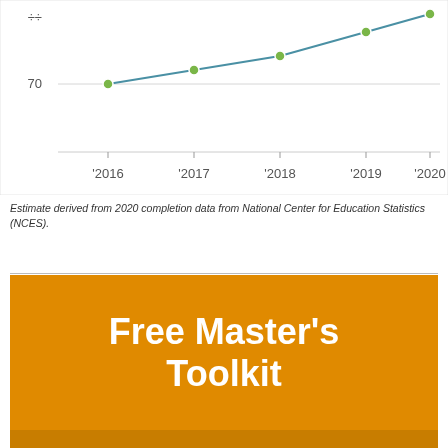[Figure (line-chart): ]
Estimate derived from 2020 completion data from National Center for Education Statistics (NCES).
[Figure (illustration): Orange banner with white bold text reading 'Free Master's Toolkit', and below it an orange background showing a laptop computer with a spreadsheet/data interface on screen.]